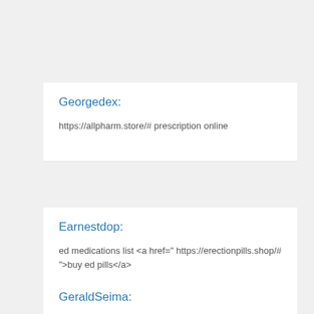Georgedex:
https://allpharm.store/# prescription online
Earnestdop:
ed medications list <a href=" https://erectionpills.shop/# ">buy ed pills</a>
GeraldSeima:
<a href=https://allpharm.store/#>Levitra Soft</a> pharmacy drug store